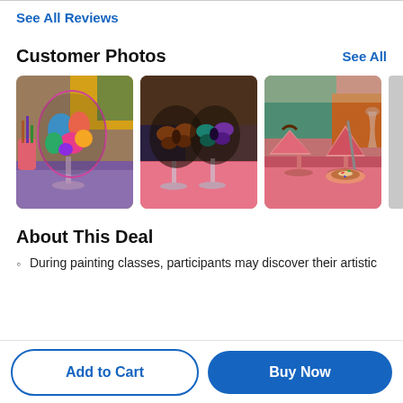See All Reviews
Customer Photos
See All
[Figure (photo): Three customer photos showing painted wine glasses from a painting class event, with a partial fourth photo cut off at the right edge.]
About This Deal
During painting classes, participants may discover their artistic
Add to Cart
Buy Now